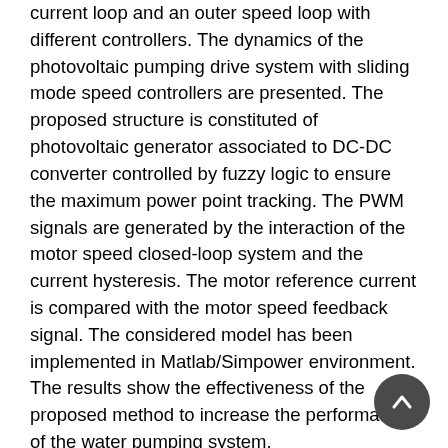(PMBLDC) motor is controlled through an hysteresis current loop and an outer speed loop with different controllers. The dynamics of the photovoltaic pumping drive system with sliding mode speed controllers are presented. The proposed structure is constituted of photovoltaic generator associated to DC-DC converter controlled by fuzzy logic to ensure the maximum power point tracking. The PWM signals are generated by the interaction of the motor speed closed-loop system and the current hysteresis. The motor reference current is compared with the motor speed feedback signal. The considered model has been implemented in Matlab/Simpower environment. The results show the effectiveness of the proposed method to increase the performance of the water pumping system.
Keywords: photovoltaic, permanent magnet brushless DC (PMBLDC) motor, MPPT, speed control, fuzzy,